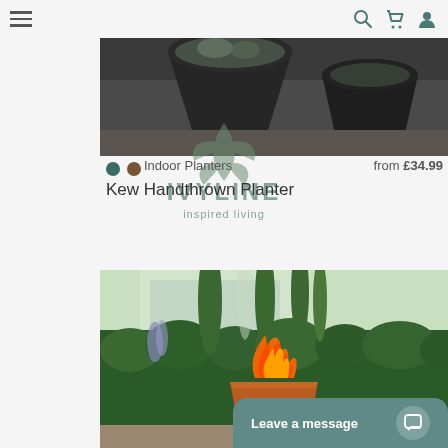[Figure (screenshot): Ivyline garden/home products e-commerce website screenshot showing two product listings and navigation bar with hamburger menu, search, cart, and user icons]
Indoor Planters   from £34.99
Kew Handthrown Planter
[Figure (photo): Fire pit in a garden setting with lush green hedges and trees in the background, flames visible inside a square rust-colored fire bowl]
Leave a message